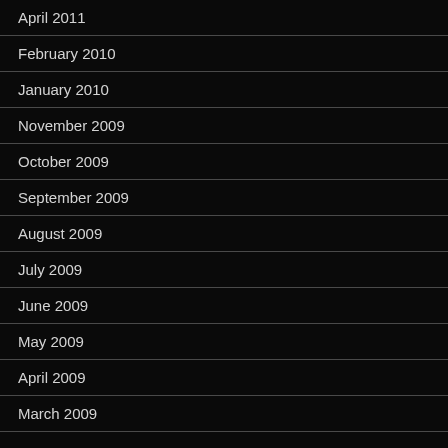April 2011
February 2010
January 2010
November 2009
October 2009
September 2009
August 2009
July 2009
June 2009
May 2009
April 2009
March 2009